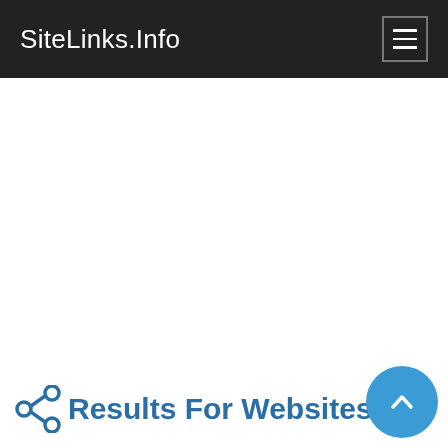SiteLinks.Info
Results For Websites Listing